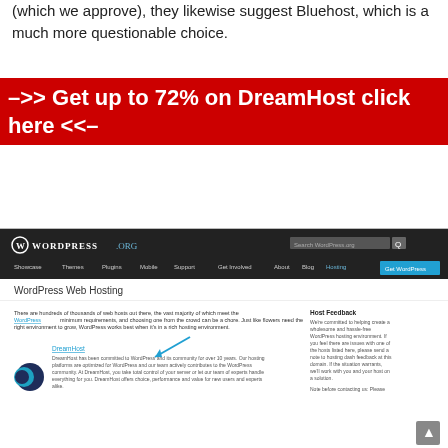(which we approve), they likewise suggest Bluehost, which is a much more questionable choice.
–>> Get up to 72% on DreamHost click here <<–
[Figure (screenshot): Screenshot of WordPress.org hosting page showing the navbar with WordPress logo, navigation links (Showcase, Themes, Plugins, Mobile, Support, Get Involved, About, Blog, Hosting highlighted in blue), a search bar, and 'Get WordPress' button. Below is the 'WordPress Web Hosting' page title and content area featuring introductory text about web hosts, a DreamHost logo entry with blue arrow annotation pointing to DreamHost name, and a Host Feedback sidebar. A scroll-to-top button is visible in the bottom right.]